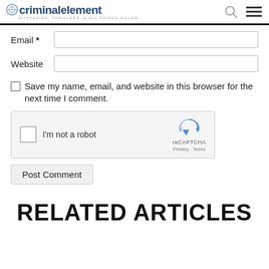criminalelement — MYSTERIES, THRILLERS, & ALL THINGS KILLER...
Email *
Website
Save my name, email, and website in this browser for the next time I comment.
[Figure (screenshot): reCAPTCHA widget with checkbox labeled 'I'm not a robot' and reCAPTCHA logo with Privacy - Terms links]
Post Comment
RELATED ARTICLES